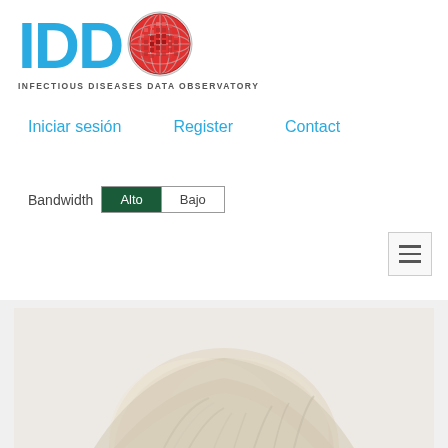[Figure (logo): IDDO logo with globe graphic and subtitle INFECTIOUS DISEASES DATA OBSERVATORY]
Iniciar sesión    Register    Contact
Bandwidth  Alto  Bajo
[Figure (photo): Partial photo of a person with light/grey hair visible from the top of the frame, against a light background]